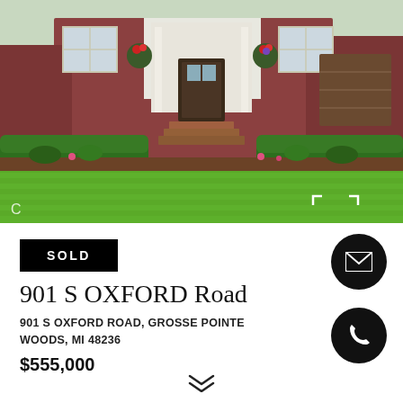[Figure (photo): Exterior photo of a brick colonial home with lush green lawn, manicured hedges, white-trimmed windows, potted flowers, and brick front steps]
SOLD
901 S OXFORD Road
901 S OXFORD ROAD, GROSSE POINTE WOODS, MI 48236
$555,000